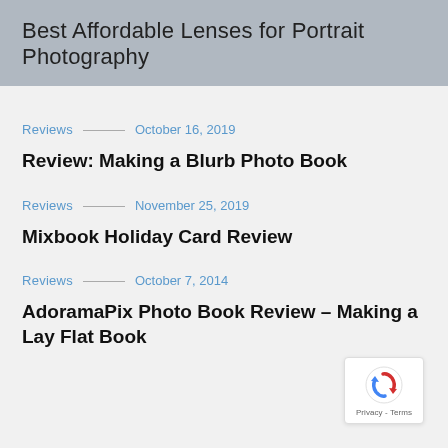Best Affordable Lenses for Portrait Photography
Reviews — October 16, 2019
Review: Making a Blurb Photo Book
Reviews — November 25, 2019
Mixbook Holiday Card Review
Reviews — October 7, 2014
AdoramaPix Photo Book Review – Making a Lay Flat Book
[Figure (logo): reCAPTCHA badge with Privacy - Terms text]